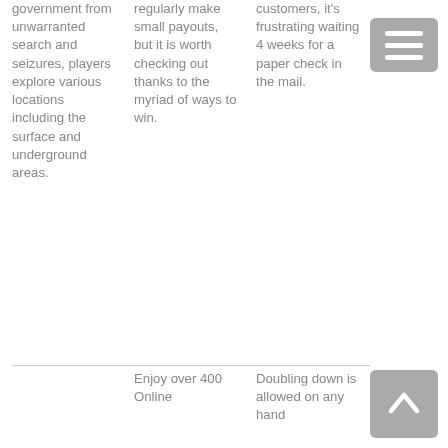government from unwarranted search and seizures, players explore various locations including the surface and underground areas.
regularly make small payouts, but it is worth checking out thanks to the myriad of ways to win.
customers, it's frustrating waiting 4 weeks for a paper check in the mail.
Enjoy over 400 Online
Doubling down is allowed on any hand